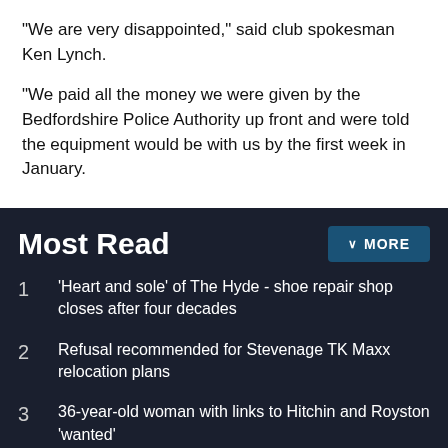"We are very disappointed," said club spokesman Ken Lynch.
"We paid all the money we were given by the Bedfordshire Police Authority up front and were told the equipment would be with us by the first week in January.
Most Read
1 'Heart and sole' of The Hyde - shoe repair shop closes after four decades
2 Refusal recommended for Stevenage TK Maxx relocation plans
3 36-year-old woman with links to Hitchin and Royston 'wanted'
Receive the top news, sport and things to do, sent to your